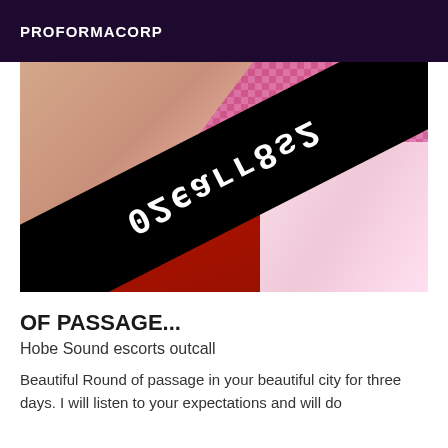PROFORMACORP
[Figure (photo): Cropped photo of a person with a diagonal black band overlaid showing mirrored/reversed text reading a phone number]
OF PASSAGE...
Hobe Sound escorts outcall
Beautiful Round of passage in your beautiful city for three days. I will listen to your expectations and will do